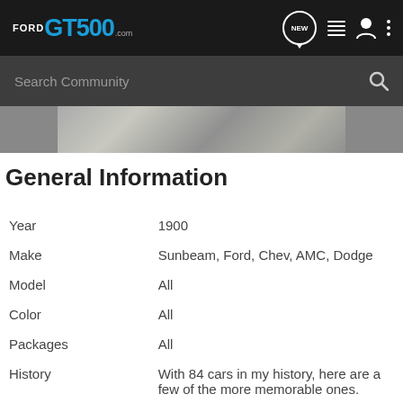FORDGT500.com navigation bar with NEW, list, user, and menu icons
[Figure (screenshot): Search Community bar with magnifying glass icon on dark background]
[Figure (photo): Partial image strip showing a textured surface]
General Information
| Year | 1900 |
| Make | Sunbeam, Ford, Chev, AMC, Dodge |
| Model | All |
| Color | All |
| Packages | All |
| History | With 84 cars in my history, here are a few of the more memorable ones. |